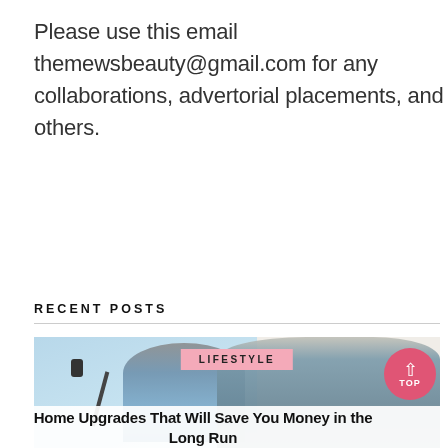Please use this email themewsbeauty@gmail.com for any collaborations, advertorial placements, and others.
RECENT POSTS
[Figure (photo): A man and woman painting a wall together. The man is in the foreground wearing a grey t-shirt, and the woman is behind him holding a paint roller, painting a blue wall.]
LIFESTYLE
Home Upgrades That Will Save You Money in the Long Run